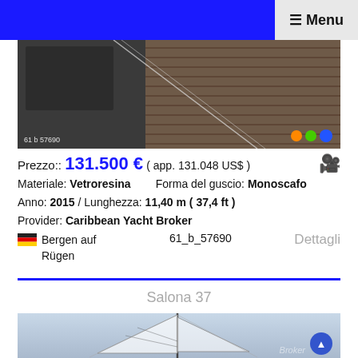≡ Menu
[Figure (photo): Sailing boat deck photo, wooden deck with teak planking, mast and rigging visible. Label: 61 b 57690]
Prezzo:: 131.500 € ( app. 131.048 US$ )
Materiale: Vetroresina    Forma del guscio: Monoscafo
Anno: 2015 / Lunghezza: 11,40 m ( 37,4 ft )
Provider: Caribbean Yacht Broker
Bergen auf Rügen    61_b_57690    Dettagli
Salona 37
[Figure (photo): Sailing yacht photo, Salona 37, sails visible, light blue sky background, Caribbean Yacht Broker watermark]